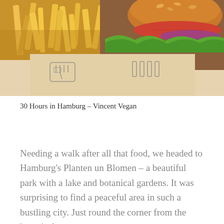[Figure (photo): Close-up photo of french fries and a burger with lettuce, tomato, and red onion on patterned paper wrapping with fork and burger icons printed on it.]
30 Hours in Hamburg – Vincent Vegan
Needing a walk after all that food, we headed to Hamburg's Planten un Blomen – a beautiful park with a lake and botanical gardens. It was surprising to find a peaceful area in such a bustling city. Just round the corner from the botanical